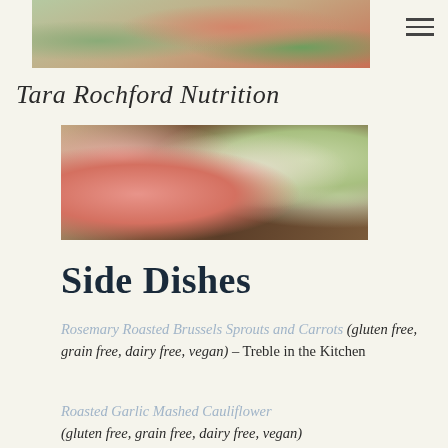[Figure (photo): Top cropped photo of vegetables including carrots and greens on burlap background]
Tara Rochford Nutrition
[Figure (photo): Photo of Brussels sprouts and sliced carrots on a dark cutting board with burlap]
Side Dishes
Rosemary Roasted Brussels Sprouts and Carrots (gluten free, grain free, dairy free, vegan) – Treble in the Kitchen
Roasted Garlic Mashed Cauliflower (gluten free, grain free, dairy free, vegan)